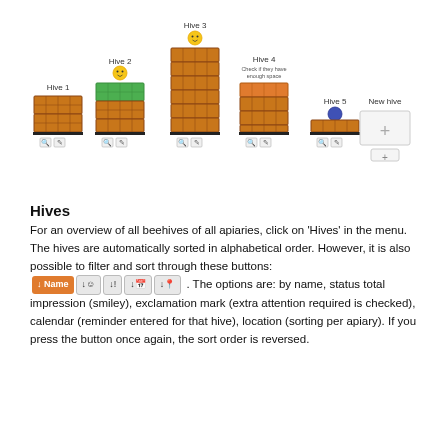[Figure (illustration): Beehive management interface showing 5 hives (Hive 1 through Hive 5) plus a New hive button. Hives are drawn as stacked wooden box illustrations in varying heights. Hive 2 has a green top box and a smiley face icon. Hive 3 is tallest with a smiley icon at top. Hive 4 has an orange top box and a label reading 'Check if they have enough space'. Hive 5 has a blue dot icon. Each hive has a magnifier and edit button below it. The New hive box shows a plus icon.]
Hives
For an overview of all beehives of all apiaries, click on 'Hives' in the menu. The hives are automatically sorted in alphabetical order. However, it is also possible to filter and sort through these buttons: [↓Name] [↓☺] [↓!] [↓📅] [↓📍] . The options are: by name, status total impression (smiley), exclamation mark (extra attention required is checked), calendar (reminder entered for that hive), location (sorting per apiary). If you press the button once again, the sort order is reversed.